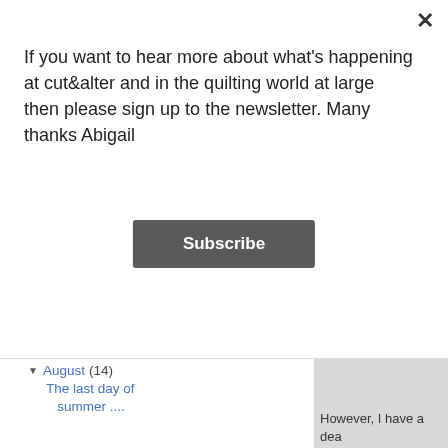If you want to hear more about what's happening at cut&alter and in the quilting world at large then please sign up to the newsletter. Many thanks Abigail
[Figure (other): Subscribe button - dark grey rounded rectangle button with white text reading 'Subscribe']
▼ August (14)
The last day of summer ....
And the rainbow continues (as does the rain in our...
To do is done!
Into the woods ...
Finish it up Friday
My rainbow quilt ....
This was my guest blogger post over at Very Berry ...
However, I have a dea... I was going to do with...